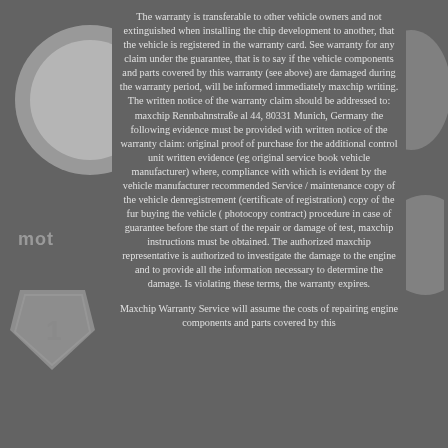[Figure (illustration): Left side decorative graphic showing a partial logo or badge illustration in grey tones with text 'mot' visible]
The warranty is transferable to other vehicle owners and not extinguished when installing the chip development to another, that the vehicle is registered in the warranty card. See warranty for any claim under the guarantee, that is to say if the vehicle components and parts covered by this warranty (see above) are damaged during the warranty period, will be informed immediately maxchip writing. The written notice of the warranty claim should be addressed to: maxchip Rennbahnstraße al 44, 80331 Munich, Germany the following evidence must be provided with written notice of the warranty claim: original proof of purchase for the additional control unit written evidence (eg original service book vehicle manufacturer) where, compliance with which is evident by the vehicle manufacturer recommended Service / maintenance copy of the vehicle denregistrement (certificate of registration) copy of the fur buying the vehicle ( photocopy contract) procedure in case of guarantee before the start of the repair or damage of test, maxchip instructions must be obtained. The authorized maxchip representative is authorized to investigate the damage to the engine and to provide all the information necessary to determine the damage. Is violating these terms, the warranty expires.
Maxchip Warranty Service will assume the costs of repairing engine components and parts covered by this
[Figure (illustration): Right side decorative graphic showing partial badge or logo illustration in grey tones]